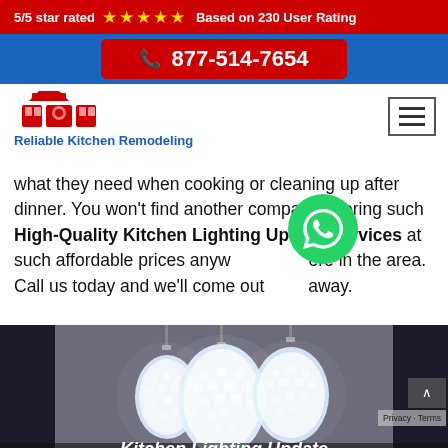5/5 star rated ★★★★★ Based on 230 User Rating
877-514-7654
[Figure (logo): Reliable Kitchen Remodeling logo with red kitchen icon and blue text]
what they need when cooking or cleaning up after dinner. You won't find another company offering such High-Quality Kitchen Lighting Update Services at such affordable prices anywhere in the area. Call us today and we'll come out right away.
[Figure (photo): Kitchen pendant lights - large crystal globe pendant lights hanging in a modern kitchen setting]
Kitchen Lighting Update